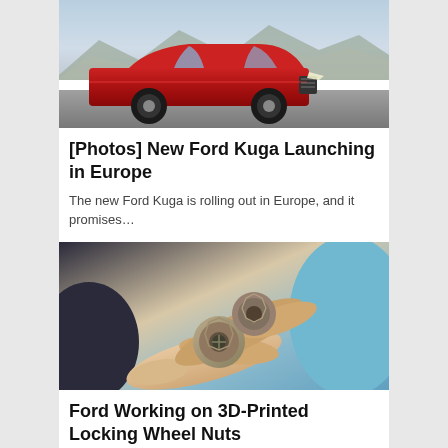[Figure (photo): Red Ford Kuga SUV parked in front of rocky hills/mountains, photographed from the front-left angle]
[Photos] New Ford Kuga Launching in Europe
The new Ford Kuga is rolling out in Europe, and it promises…
[Figure (photo): Two people's hands holding 3D-printed locking wheel nuts, close-up photo]
Ford Working on 3D-Printed Locking Wheel Nuts